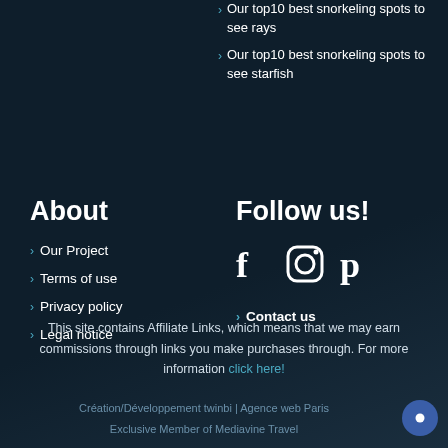› Our top10 best snorkeling spots to see rays
› Our top10 best snorkeling spots to see starfish
About
› Our Project
› Terms of use
› Privacy policy
› Legal notice
Follow us!
[Figure (illustration): Social media icons: Facebook (f), Instagram (circle), Pinterest (P)]
› Contact us
This site contains Affiliate Links, which means that we may earn commissions through links you make purchases through. For more information click here!
Création/Développement twinbi | Agence web Paris
Exclusive Member of Mediavine Travel